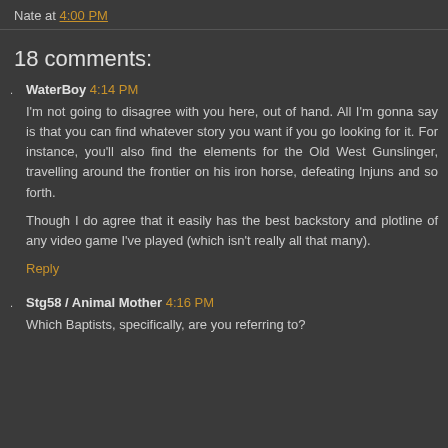Nate at 4:00 PM
18 comments:
WaterBoy 4:14 PM
I'm not going to disagree with you here, out of hand. All I'm gonna say is that you can find whatever story you want if you go looking for it. For instance, you'll also find the elements for the Old West Gunslinger, travelling around the frontier on his iron horse, defeating Injuns and so forth.

Though I do agree that it easily has the best backstory and plotline of any video game I've played (which isn't really all that many).

Reply
Stg58 / Animal Mother 4:16 PM
Which Baptists, specifically, are you referring to?